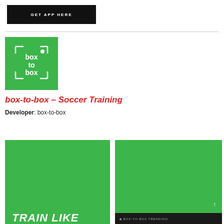GET APP HERE
[Figure (logo): box-to-box logo: green square with white bracket corners, white text reading 'box to box' and a small white dot]
box-to-box – Soccer Training
Developer: box-to-box
[Figure (screenshot): Green background screenshot showing bold italic white text 'TRAIN LIKE']
[Figure (screenshot): Green background app screenshot with dark navigation bar at bottom]